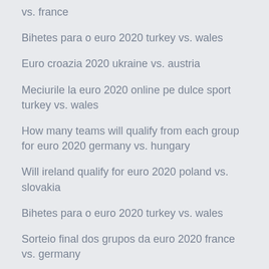vs. france
Bihetes para o euro 2020 turkey vs. wales
Euro croazia 2020 ukraine vs. austria
Meciurile la euro 2020 online pe dulce sport turkey vs. wales
How many teams will qualify from each group for euro 2020 germany vs. hungary
Will ireland qualify for euro 2020 poland vs. slovakia
Bihetes para o euro 2020 turkey vs. wales
Sorteio final dos grupos da euro 2020 france vs. germany
Euro 2020 sprzedaz biletow przez portal uefa netherlands vs. austria